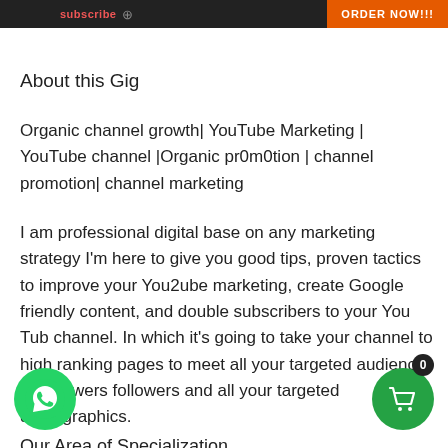subscribe  ORDER NOW!!!
About this Gig
Organic channel growth| YouTube Marketing | YouTube channel |Organic pr0m0tion | channel promotion| channel marketing
I am professional digital base on any marketing strategy I'm here to give you good tips, proven tactics to improve your You2ube marketing, create Google friendly content, and double subscribers to your You Tub channel. In which it's going to take your channel to high ranking pages to meet all your targeted audience, live viewers followers and all your targeted demographics.
Our Area of Specialization